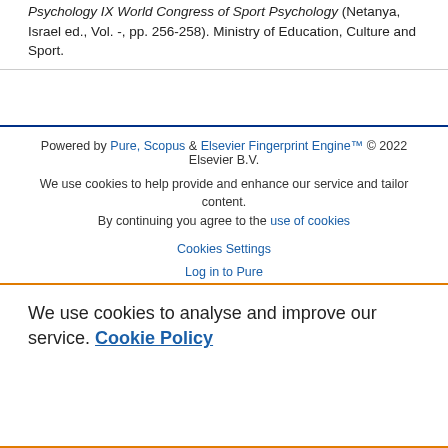Q Mr Bar Eli Elder (Edsl), International Society of Sport Psychology IX World Congress of Sport Psychology (Netanya, Israel ed., Vol. -, pp. 256-258). Ministry of Education, Culture and Sport.
Powered by Pure, Scopus & Elsevier Fingerprint Engine™ © 2022 Elsevier B.V.
We use cookies to help provide and enhance our service and tailor content. By continuing you agree to the use of cookies
Cookies Settings
Log in to Pure
We use cookies to analyse and improve our service. Cookie Policy